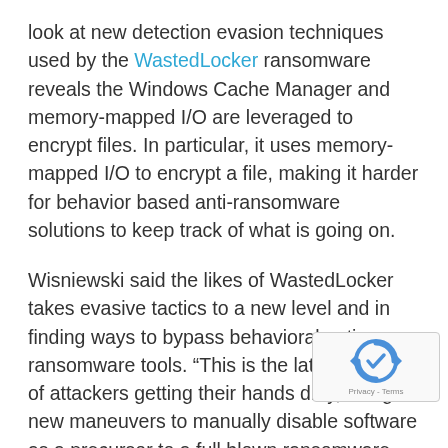look at new detection evasion techniques used by the WastedLocker ransomware reveals the Windows Cache Manager and memory-mapped I/O are leveraged to encrypt files. In particular, it uses memory-mapped I/O to encrypt a file, making it harder for behavior based anti-ransomware solutions to keep track of what is going on.
Wisniewski said the likes of WastedLocker takes evasive tactics to a new level and in finding ways to bypass behavioral anti-ransomware tools. “This is the latest example of attackers getting their hands dirty, using new maneuvers to manually disable software as a precursor to a full blown ransomware attack.
“The longer attackers are in the network, the more damage they can inflict. This is why hum…
[Figure (other): reCAPTCHA badge with circular arrow logo and 'Privacy - Terms' text]